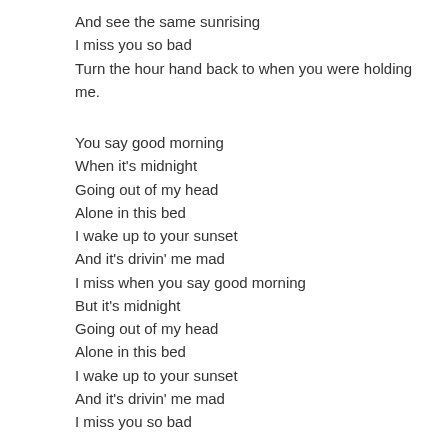And see the same sunrising
I miss you so bad
Turn the hour hand back to when you were holding me.
You say good morning
When it's midnight
Going out of my head
Alone in this bed
I wake up to your sunset
And it's drivin' me mad
I miss when you say good morning
But it's midnight
Going out of my head
Alone in this bed
I wake up to your sunset
And it's drivin' me mad
I miss you so bad